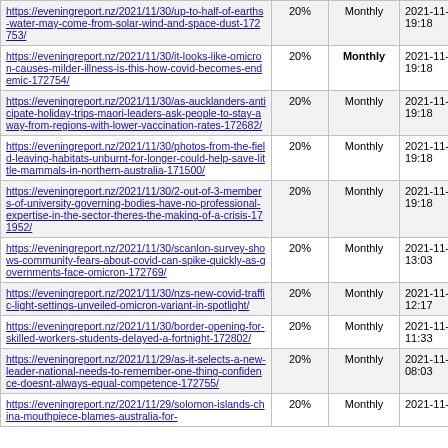| URL | Priority | Change Frequency | Last Modified |
| --- | --- | --- | --- |
| https://eveningreport.nz/2021/11/30/up-to-half-of-earths-water-may-come-from-solar-wind-and-space-dust-172753/ | 20% | Monthly | 2021-11-29 19:18 |
| https://eveningreport.nz/2021/11/30/it-looks-like-omicron-causes-milder-illness-is-this-how-covid-becomes-endemic-172754/ | 20% | Monthly | 2021-11-29 19:18 |
| https://eveningreport.nz/2021/11/30/as-aucklanders-anticipate-holiday-trips-maori-leaders-ask-people-to-stay-away-from-regions-with-lower-vaccination-rates-172682/ | 20% | Monthly | 2021-11-29 19:18 |
| https://eveningreport.nz/2021/11/30/photos-from-the-field-leaving-habitats-unburnt-for-longer-could-help-save-little-mammals-in-northern-australia-171500/ | 20% | Monthly | 2021-11-29 19:18 |
| https://eveningreport.nz/2021/11/30/2-out-of-3-members-of-university-governing-bodies-have-no-professional-expertise-in-the-sector-theres-the-making-of-a-crisis-171952/ | 20% | Monthly | 2021-11-29 19:18 |
| https://eveningreport.nz/2021/11/30/scanlon-survey-shows-community-fears-about-covid-can-spike-quickly-as-governments-face-omicron-172769/ | 20% | Monthly | 2021-11-29 13:03 |
| https://eveningreport.nz/2021/11/30/nzs-new-covid-traffic-light-settings-unveiled-omicron-variant-in-spotlight/ | 20% | Monthly | 2021-11-29 12:17 |
| https://eveningreport.nz/2021/11/30/border-opening-for-skilled-workers-students-delayed-a-fortnight-172802/ | 20% | Monthly | 2021-11-29 11:33 |
| https://eveningreport.nz/2021/11/29/as-it-selects-a-new-leader-national-needs-to-remember-one-thing-confidence-doesnt-always-equal-competence-172755/ | 20% | Monthly | 2021-11-29 08:03 |
| https://eveningreport.nz/2021/11/29/solomon-islands-china-mouthpiece-blames-australia-for- | 20% | Monthly | 2021-11-29 |